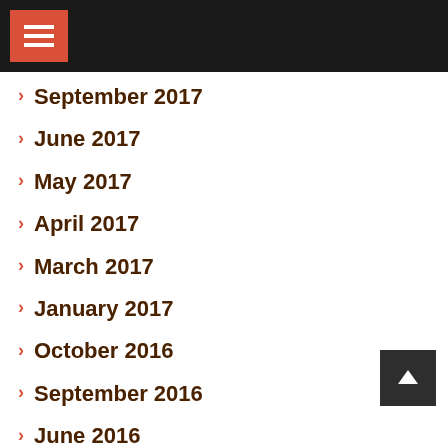Navigation menu header bar
September 2017
June 2017
May 2017
April 2017
March 2017
January 2017
October 2016
September 2016
June 2016
May 2016
March 2016